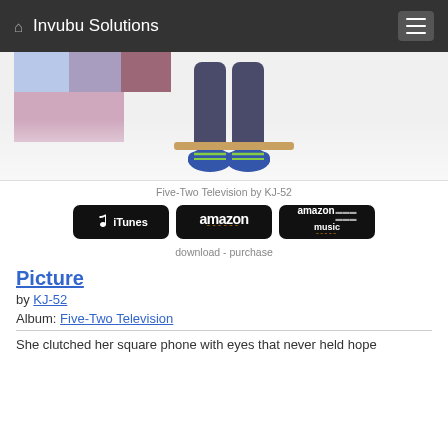Invubu Solutions
[Figure (photo): Photo of person sitting with colorful TV blocks, feet with blue sneakers visible at bottom, white background]
Five-Two Television by KJ-52
[Figure (other): Three store buttons: iTunes, amazon, amazon music]
download - purchase
Picture
by KJ-52
Album: Five-Two Television
She clutched her square phone with eyes that never held hope